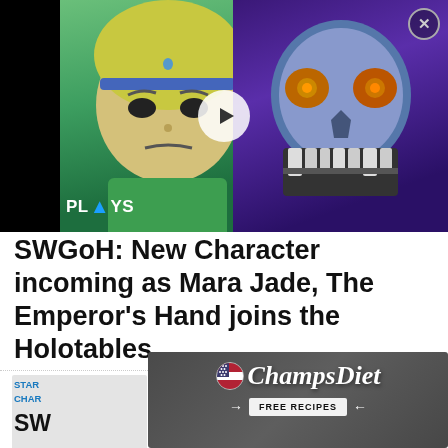[Figure (screenshot): Video thumbnail showing animated Toon Link character on left and a monster/skull face on right with a play button overlay and 'PLAYS' badge in bottom left corner]
SWGoH: New Character incoming as Mara Jade, The Emperor's Hand joins the Holotables
[Figure (screenshot): Three placeholder grey ad boxes side by side with an X close button on the right]
STAR WARS: GALAXY OF HEROES CHARACTER
SW
[Figure (screenshot): ChampsDiet advertisement overlay with flag icon, cursive ChampsDiet logo, and FREE RECIPES button on dark food background]